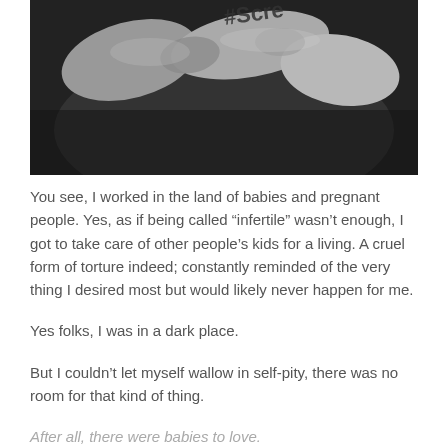[Figure (photo): Black and white close-up photograph of hands with a hashtag tattoo visible on the finger, appearing to be clasped or holding together.]
You see, I worked in the land of babies and pregnant people. Yes, as if being called “infertile” wasn’t enough, I got to take care of other people’s kids for a living. A cruel form of torture indeed; constantly reminded of the very thing I desired most but would likely never happen for me.
Yes folks, I was in a dark place.
But I couldn’t let myself wallow in self-pity, there was no room for that kind of thing.
After all, there were babies to love.